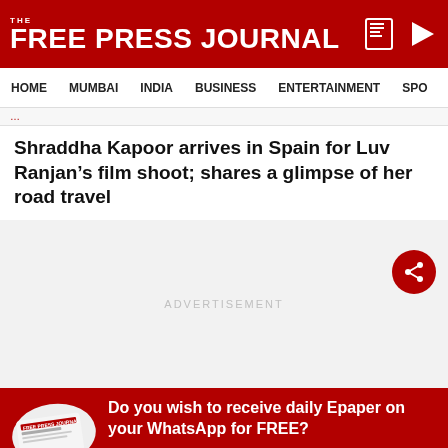THE FREE PRESS JOURNAL
HOME  MUMBAI  INDIA  BUSINESS  ENTERTAINMENT  SPO...
Shraddha Kapoor arrives in Spain for Luv Ranjan’s film shoot; shares a glimpse of her road travel
[Figure (other): Large light gray content/advertisement area with centered ADVERTISEMENT label and a red circular share button on the right]
Do you wish to receive daily Epaper on your WhatsApp for FREE?